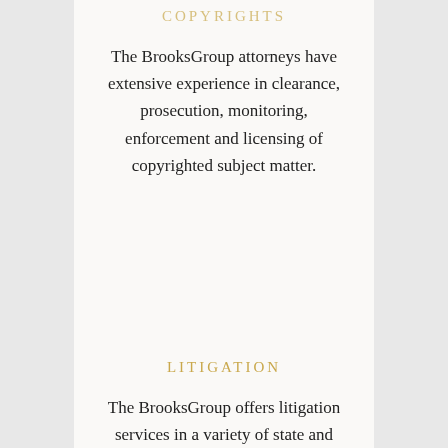COPYRIGHTS
The BrooksGroup attorneys have extensive experience in clearance, prosecution, monitoring, enforcement and licensing of copyrighted subject matter.
LITIGATION
The BrooksGroup offers litigation services in a variety of state and